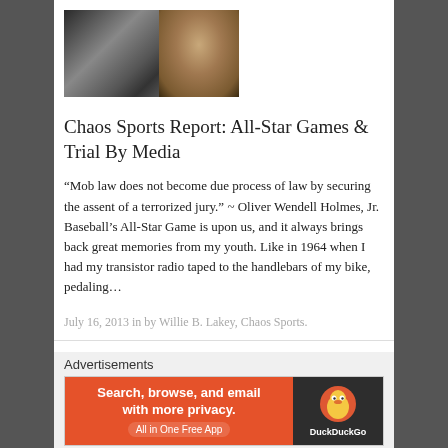[Figure (photo): Black and white photo of baseball players with a close-up of a young Black man's face on the right side]
Chaos Sports Report: All-Star Games & Trial By Media
“Mob law does not become due process of law by securing the assent of a terrorized jury.” ~ Oliver Wendell Holmes, Jr. Baseball’s All-Star Game is upon us, and it always brings back great memories from my youth. Like in 1964 when I had my transistor radio taped to the handlebars of my bike, pedaling…
July 16, 2013 in by Willie B. Lakey, Chaos Sports.
Advertisements
[Figure (screenshot): DuckDuckGo advertisement banner: Search, browse, and email with more privacy. All in One Free App. DuckDuckGo logo on right side with dark background.]